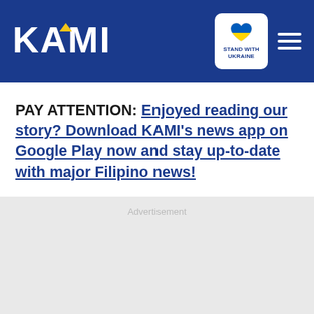KAMI — Stand with Ukraine
PAY ATTENTION: Enjoyed reading our story? Download KAMI's news app on Google Play now and stay up-to-date with major Filipino news!
Advertisement